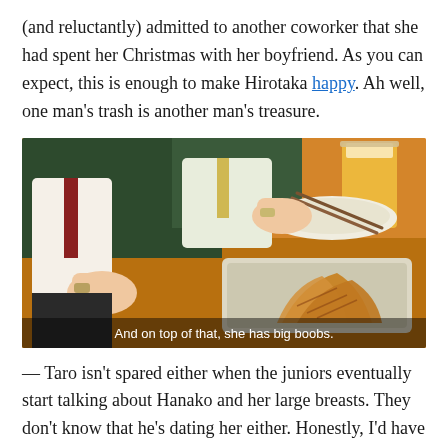(and reluctantly) admitted to another coworker that she had spent her Christmas with her boyfriend. As you can expect, this is enough to make Hirotaka happy. Ah well, one man's trash is another man's treasure.
[Figure (illustration): Anime screenshot showing two characters at a restaurant/bar table with food (grilled items on a tray) and a glass of beer. Subtitle text reads: 'And on top of that, she has big boobs.']
— Taro isn't spared either when the juniors eventually start talking about Hanako and her large breasts. They don't know that he's dating her either. Honestly, I'd have a hard time